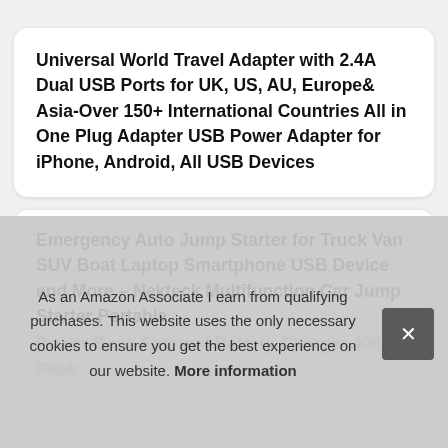Universal World Travel Adapter with 2.4A Dual USB Ports for UK, US, AU, Europe& Asia-Over 150+ International Countries All in One Plug Adapter USB Power Adapter for iPhone, Android, All USB Devices
Emergency Auto Jump Starter for Truck Van SUV Boat Laptop Smartphone USB Device and More – Nekteck Multifunction Car Jump Starter Portable Power Bank External Battery Charger 400A Peak...
As an Amazon Associate I earn from qualifying purchases. This website uses the only necessary cookies to ensure you get the best experience on our website. More information